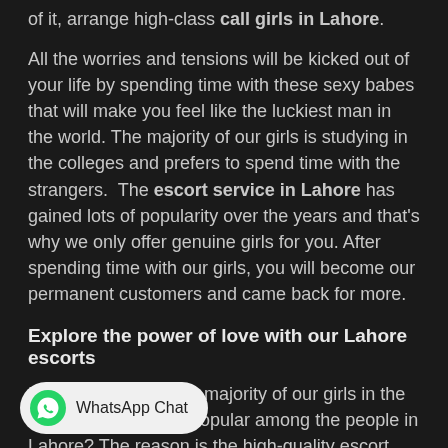of it, arrange high-class call girls in Lahore.
All the worries and tensions will be kicked out of your life by spending time with these sexy babes that will make you feel like the luckiest man in the world. The majority of our girls is studying in the colleges and prefers to spend time with the strangers. The escort service in Lahore has gained lots of popularity over the years and that's why we only offer genuine girls for you. After spending time with our girls, you will become our permanent customers and came back for more.
Explore the power of love with our Lahore escorts
Do you know why the majority of our girls in the Miss Pakistani is so popular among the people in Lahore? The reason is the high-quality escort services offered by elegant girls. Our escorts in Lahore is the ideal choice for the people who don't